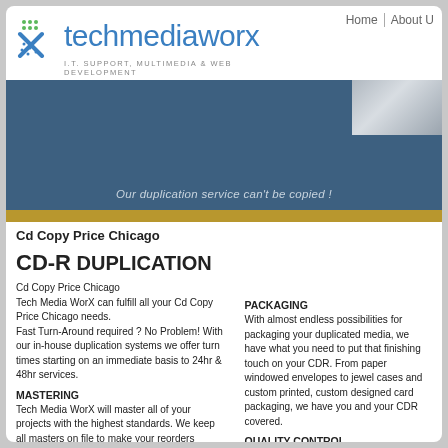Home | About U
[Figure (logo): Techmediaworx logo with X icon and tagline IT. SUPPORT, MULTIMEDIA & WEB DEVELOPMENT]
[Figure (photo): Dark blue hero banner with partial photo top-right and italic tagline: Our duplication service can't be copied!]
Cd Copy Price Chicago
CD-R DUPLICATION
Cd Copy Price Chicago
Tech Media WorX can fulfill all your Cd Copy Price Chicago needs.
Fast Turn-Around required ? No Problem! With our in-house duplication systems we offer turn times starting on an immediate basis to 24hr & 48hr services.
MASTERING
Tech Media WorX will master all of your projects with the highest standards. We keep all masters on file to make your reorders
PACKAGING
With almost endless possibilities for packaging your duplicated media, we have what you need to put that finishing touch on your CDR. From paper windowed envelopes to jewel cases and custom printed, custom designed card packaging, we have you and your CDR covered.
QUALITY CONTROL
At Tech Media WorX we pride ourselves in the efforts we put into Quality Control. We